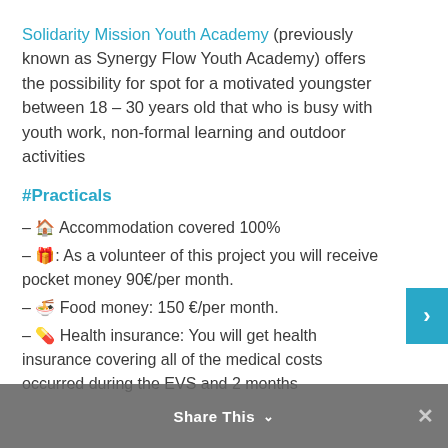Solidarity Mission Youth Academy (previously known as Synergy Flow Youth Academy) offers the possibility for spot for a motivated youngster between 18 – 30 years old that who is busy with youth work, non-formal learning and outdoor activities
#Practicals
– 🏠 Accommodation covered 100%
– 🎁: As a volunteer of this project you will receive pocket money 90€/per month.
– 🍜 Food money: 150 €/per month.
– 💊 Health insurance: You will get health insurance covering all of the medical costs occurred during the EVS and 2 months
Share This ∨  ✕